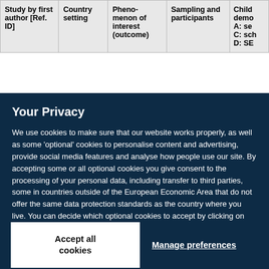| Study by first author [Ref. ID] | Country setting | Phenomenon of interest (outcome) | Sampling and participants | Child demo A: se C: sch D: SE |
| --- | --- | --- | --- | --- |
Your Privacy
We use cookies to make sure that our website works properly, as well as some 'optional' cookies to personalise content and advertising, provide social media features and analyse how people use our site. By accepting some or all optional cookies you give consent to the processing of your personal data, including transfer to third parties, some in countries outside of the European Economic Area that do not offer the same data protection standards as the country where you live. You can decide which optional cookies to accept by clicking on 'Manage Settings', where you can also find more information about how your personal data is processed. Further information can be found in our privacy policy.
Accept all cookies
Manage preferences